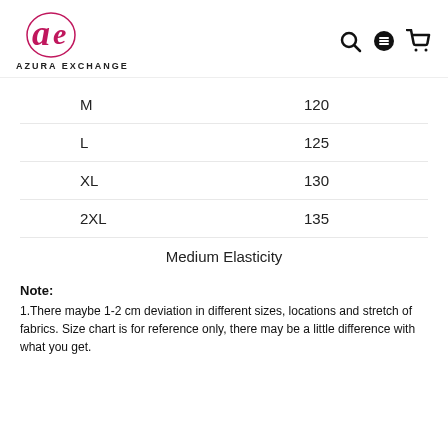AZURA EXCHANGE
| Size | Value |
| --- | --- |
| M | 120 |
| L | 125 |
| XL | 130 |
| 2XL | 135 |
|  | Medium Elasticity |
Note:
1.There maybe 1-2 cm deviation in different sizes, locations and stretch of fabrics. Size chart is for reference only, there may be a little difference with what you get.